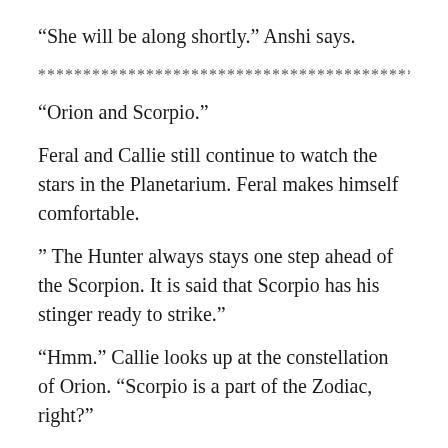“She will be along shortly.” Anshi says.
************************************************
“Orion and Scorpio.”
Feral and Callie still continue to watch the stars in the Planetarium. Feral makes himself comfortable.
” The Hunter always stays one step ahead of the Scorpion. It is said that Scorpio has his stinger ready to strike.”
“Hmm.” Callie looks up at the constellation of Orion. “Scorpio is a part of the Zodiac, right?”
“Mmm, hmm.” Feral smiles a bit. “Also my sign.”
“Really?”